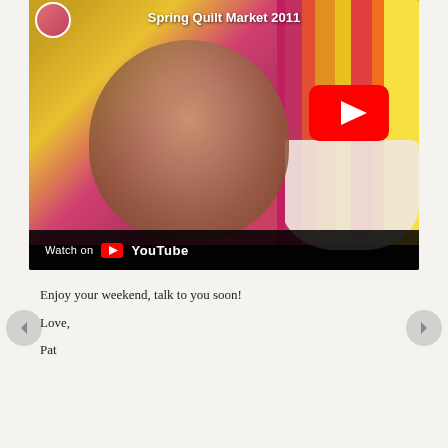[Figure (screenshot): YouTube video thumbnail showing Spring Quilt Market 2011 — a smiling woman with brown hair in a printed floral jacket standing in front of colorful fabric strips. A guitar is visible on the right side. A large red YouTube play button appears in the upper right. The bottom bar reads 'Watch on YouTube'.]
Enjoy your weekend, talk to you soon!
Love,
Pat